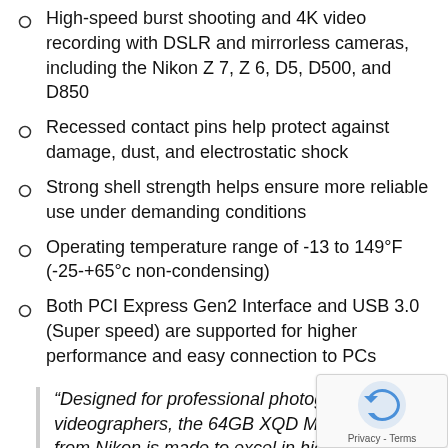High-speed burst shooting and 4K video recording with DSLR and mirrorless cameras, including the Nikon Z 7, Z 6, D5, D500, and D850
Recessed contact pins help protect against damage, dust, and electrostatic shock
Strong shell strength helps ensure more reliable use under demanding conditions
Operating temperature range of -13 to 149°F (-25-+65°c non-condensing)
Both PCI Express Gen2 Interface and USB 3.0 (Super speed) are supported for higher performance and easy connection to PCs
“Designed for professional photographers and videographers, the 64GB XQD Memory Card from Nikon is made to excel in high-end DSL and mirrorless cameras, including the Z 7, Z 6,...